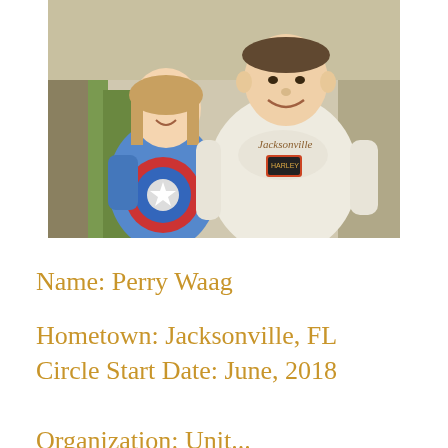[Figure (photo): A young girl wearing a Captain America shirt and a taller person wearing a Jacksonville Harley-Davidson long sleeve shirt, both smiling, standing outdoors.]
Name: Perry Waag
Hometown: Jacksonville, FL
Circle Start Date: June, 2018
Organization: Unit...